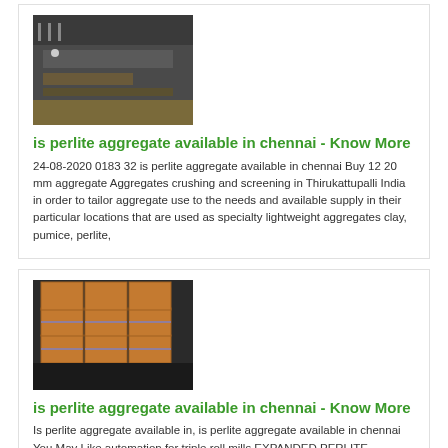[Figure (photo): Dark industrial/warehouse scene with metal structure]
is perlite aggregate available in chennai - Know More
24-08-2020 0183 32 is perlite aggregate available in chennai Buy 12 20 mm aggregate Aggregates crushing and screening in Thirukattupalli India in order to tailor aggregate use to the needs and available supply in their particular locations that are used as specialty lightweight aggregates clay, pumice, perlite,
[Figure (photo): Stacked brown boxes/packages in a warehouse]
is perlite aggregate available in chennai - Know More
Is perlite aggregate available in, is perlite aggregate available in chennai You May Like automation for triple roll mills EXPANDED PERLITE , availability of